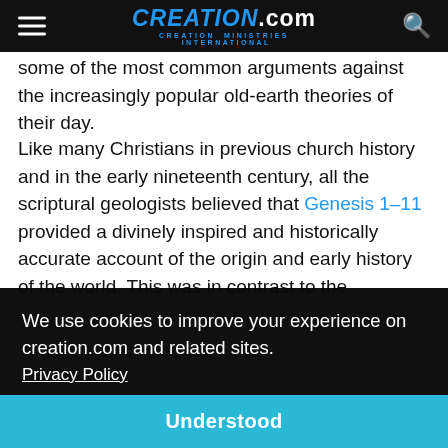CREATION.com — CREATION MINISTRIES INTERNATIONAL
some of the most common arguments against the increasingly popular old-earth theories of their day.
Like many Christians in previous church history and in the early nineteenth century, all the scriptural geologists believed that Genesis 1–11 provided a divinely inspired and historically accurate account of the origin and early history of the world. This was in contrast to the ... by ... ar to ...
We use cookies to improve your experience on creation.com and related sites. Privacy Policy
Understood
al six-day creation approximately 6000 years ago followed by